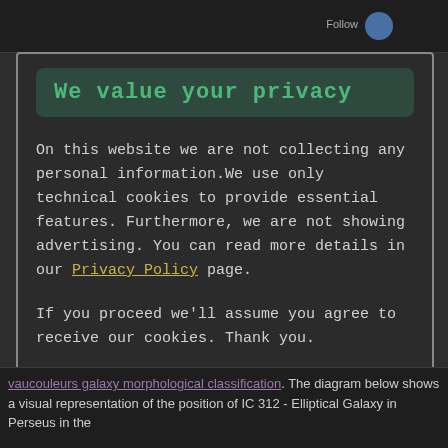Follow
We value your privacy
On this website we are not collecting any personal information.We use only technical cookies to provide essential features. Furthermore, we are not showing advertising. You can read more details in our Privacy Policy page.
If you proceed we'll assume you agree to receive our cookies. Thank you.
Proceed to TheSkyLive.com
vaucouleurs galaxy morphological classification. The diagram below shows a visual representation of the position of IC 312 - Elliptical Galaxy in Perseus in the